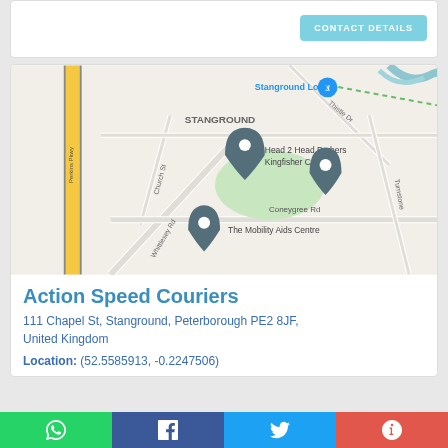CONTACT DETAILS
[Figure (map): Google Maps screenshot showing Stanground area in Peterborough, UK. Shows Head 2 Head Barbers Kingfisher Court, The Mobility Aids Centre on Coneygree Rd, Whittlesey Rd, Church St, Thistle Dr, and Stanground Lock marker. Yellow road (A15/Perkins Pkwy) on left side.]
Action Speed Couriers
111 Chapel St, Stanground, Peterborough PE2 8JF, United Kingdom
Location: (52.5585913, -0.2247506)